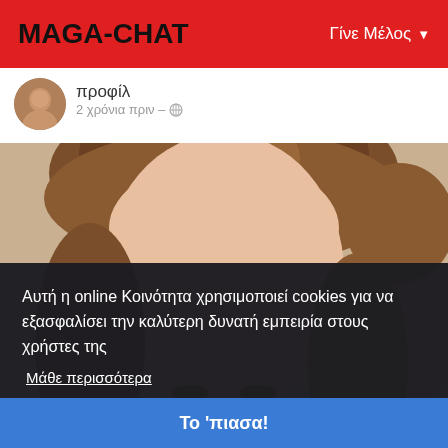MAGA-CHAT | Γίνε Μέλος
προφίλ
2 χρόνια πριν –
[Figure (photo): Close-up photo of a woman with reddish-brown hair, smiling, with another person partially visible on the right side]
Αυτή η online Κοινότητα χρησιμοποιεί cookies για να εξασφαλίσει την καλύτερη δυνατή εμπειρία στους χρήστες της
Μάθε περισσότερα
Το 'πιασα!